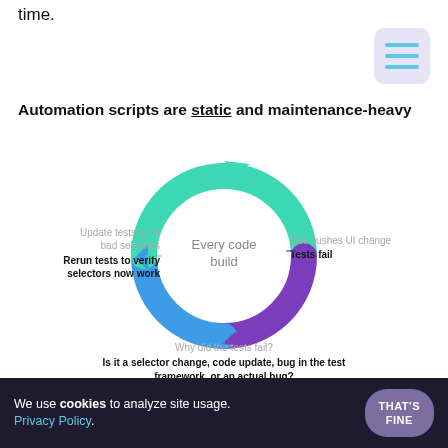time.
Automation scripts are static and maintenance-heavy
[Figure (infographic): Circular flow diagram showing the maintenance cycle of automation scripts around a central label 'Every code build'. Four nodes: 'Dev pushes UI change / Tests fail' (top right), 'Why did the tests fail? / Is it a selector change, code update, bug in the test framework, or an actual bug?' (bottom), 'Update tests to fix bad selectors / Rerun tests to verify selectors now work' (left). Arrows form a circle in teal, purple, and blue.]
Then, if you are pressed for time and want to
We use cookies to analyze site usage. Privacy Policy.
THAT'S FINE